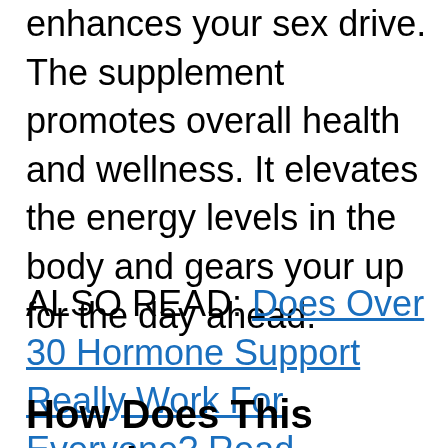enhances your sex drive. The supplement promotes overall health and wellness. It elevates the energy levels in the body and gears your up for the day ahead.
ALSO READ: Does Over 30 Hormone Support Really Work For Everyone? Read Customer Reviews and Testimonials!
How Does This Supplement